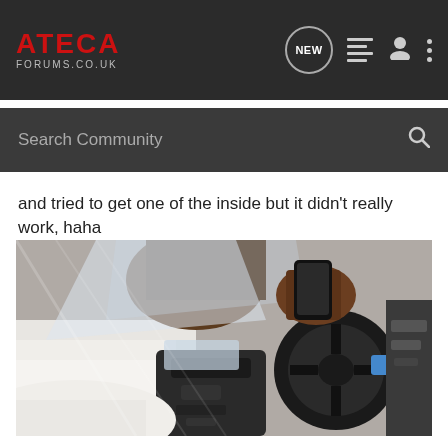ATECA FORUMS.CO.UK
and tried to get one of the inside but it didn't really work, haha
[Figure (photo): Interior of a car showing the dashboard, steering wheel, gear shift console, and wrapped/protected components. A person is visible in the background holding a phone, with plastic protective wrapping on interior parts.]